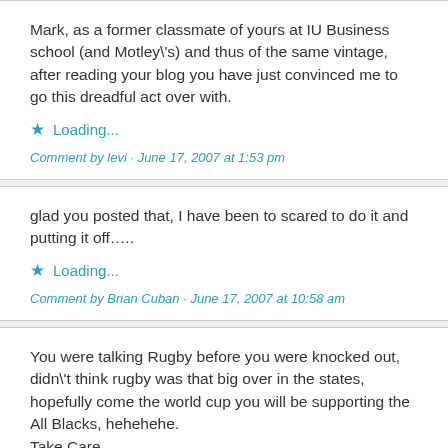Mark, as a former classmate of yours at IU Business school (and Motley\'s) and thus of the same vintage, after reading your blog you have just convinced me to go this dreadful act over with.
Loading...
Comment by levi - June 17, 2007 at 1:53 pm
glad you posted that, I have been to scared to do it and putting it off.....
Loading...
Comment by Brian Cuban - June 17, 2007 at 10:58 am
You were talking Rugby before you were knocked out, didn\'t think rugby was that big over in the states, hopefully come the world cup you will be supporting the All Blacks, hehehehe. Take Care Richard